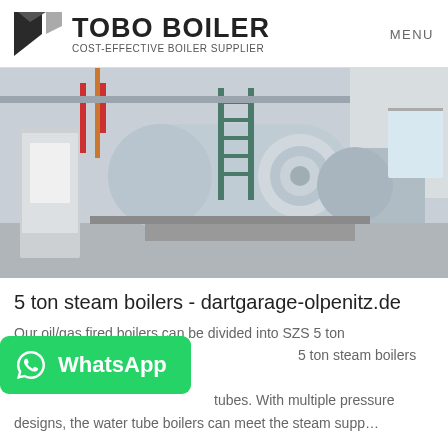TOBO BOILER — COST-EFFECTIVE BOILER SUPPLIER | MENU
[Figure (photo): Industrial boiler room with large horizontal cylindrical steam boilers in grey/white, on concrete plinths, with red and orange pipe fittings, metal access ladders and control panels, inside a white-walled factory facility.]
5 ton steam boilers - dartgarage-olpenitz.de
Our oil/gas fired boilers can be divided into SZS 5 ton 5 ton steam boilers depending on tubes. With multiple pressure designs, the water tube boilers can meet the steam supp…